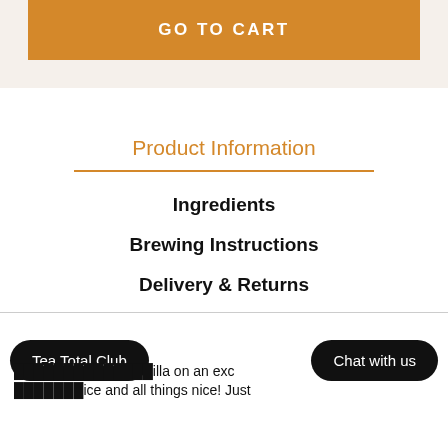GO TO CART
Product Information
Ingredients
Brewing Instructions
Delivery & Returns
Tea Total Club
Chat with us
illa on an exc… ice and all things nice! Just